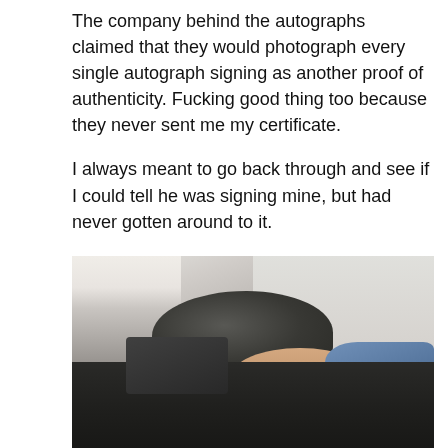The company behind the autographs claimed that they would photograph every single autograph signing as another proof of authenticity. Fucking good thing too because they never sent me my certificate.
I always meant to go back through and see if I could tell he was signing mine, but had never gotten around to it.
Well... I finally went through.
[Figure (photo): A person with curly hair wearing a dark slouchy beanie hat with their head resting/slumped down on a dark table. There is a laptop on the table. Another person in a white long-sleeve shirt and grey trousers is standing in the background.]